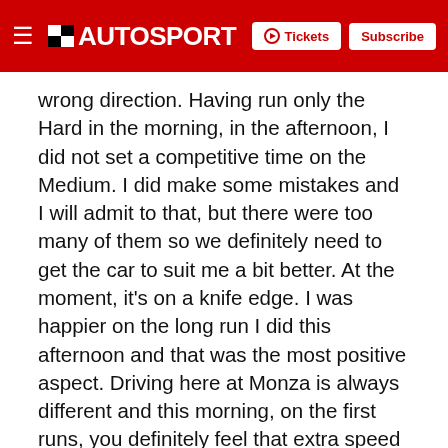AUTOSPORT | Tickets | Subscribe
wrong direction. Having run only the Hard in the morning, in the afternoon, I did not set a competitive time on the Medium. I did make some mistakes and I will admit to that, but there were too many of them so we definitely need to get the car to suit me a bit better. At the moment, it's on a knife edge. I was happier on the long run I did this afternoon and that was the most positive aspect. Driving here at Monza is always different and this morning, on the first runs, you definitely feel that extra speed down the straight, which is a nice feeling and something I enjoy about being here."
[Figure (photo): Gray placeholder image at the bottom of the article]